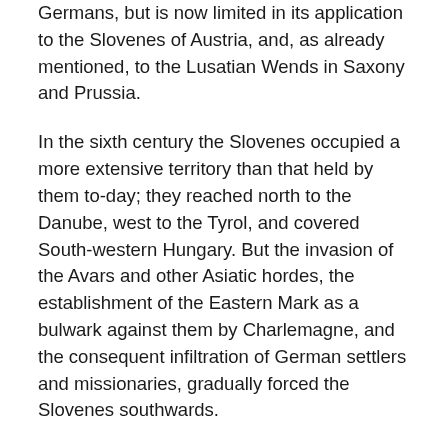Germans, but is now limited in its application to the Slovenes of Austria, and, as already mentioned, to the Lusatian Wends in Saxony and Prussia.
In the sixth century the Slovenes occupied a more extensive territory than that held by them to-day; they reached north to the Danube, west to the Tyrol, and covered South-western Hungary. But the invasion of the Avars and other Asiatic hordes, the establishment of the Eastern Mark as a bulwark against them by Charlemagne, and the consequent infiltration of German settlers and missionaries, gradually forced the Slovenes southwards.
Although fragments of this language dating from the tenth century have survived, and considerable examples of it from the time of the Reformation in the sixteenth century exist, the real revival of the Slovene nationality and language belongs to the nineteenth century.